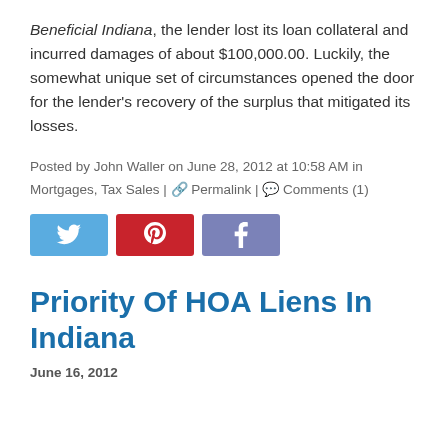Beneficial Indiana, the lender lost its loan collateral and incurred damages of about $100,000.00. Luckily, the somewhat unique set of circumstances opened the door for the lender's recovery of the surplus that mitigated its losses.
Posted by John Waller on June 28, 2012 at 10:58 AM in Mortgages, Tax Sales | Permalink | Comments (1)
[Figure (other): Social sharing buttons: Twitter (blue), Pinterest (red), Facebook (purple/blue)]
Priority Of HOA Liens In Indiana
June 16, 2012